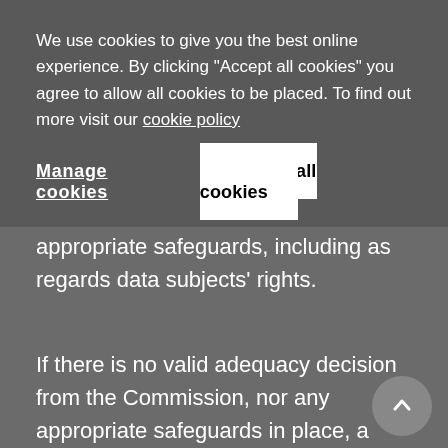We use cookies to give you the best online experience. By clicking "Accept all cookies" you agree to allow all cookies to be placed. To find out more visit our cookie policy
Manage cookies
Accept all cookies
appropriate safeguards, including as regards data subjects' rights.
If there is no valid adequacy decision from the Commission, nor any appropriate safeguards in place, a transfer or a set of transfers of personal data to a third country or an international organisation can take place only under strict conditions, one of which is that the transfer is necessary for the establishment, exercise or defence of legal